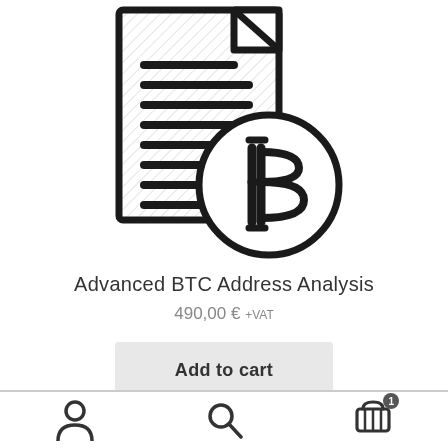[Figure (illustration): A document/file icon with a Bitcoin (BTC) coin symbol overlaid in the lower right corner. The document has horizontal lines representing text content, and the Bitcoin coin shows the ₿ symbol inside a circle.]
Advanced BTC Address Analysis
490,00 € +VAT
Add to cart